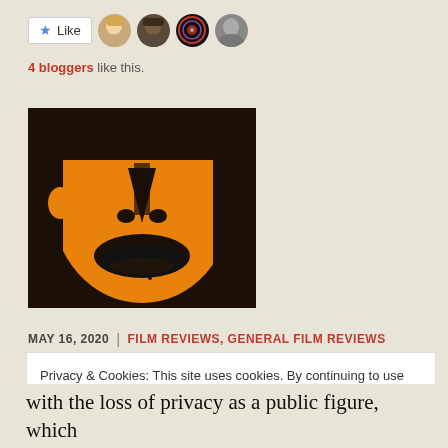[Figure (other): Like button with star icon and 4 avatar thumbnails of bloggers]
4 bloggers like this.
[Figure (illustration): Stylized pop-art poster image of a face in orange and black, showing nose and lips close-up]
MAY 16, 2020  |  FILM REVIEWS, GENERAL FILM REVIEWS
Privacy & Cookies: This site uses cookies. By continuing to use this website, you agree to their use.
To find out more, including how to control cookies, see here: Cookie Policy
Close and accept
with the loss of privacy as a public figure, which